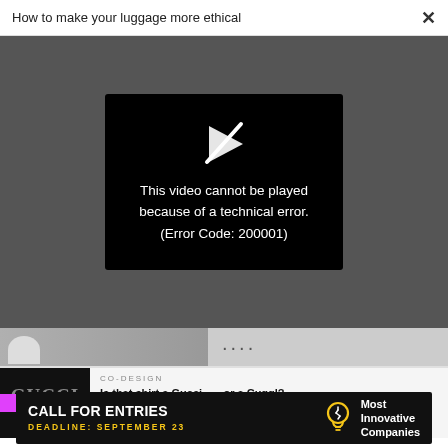How to make your luggage more ethical  ×
[Figure (screenshot): Dark gray video player background with a centered black error box. Contains a white play-arrow icon (with a diagonal slash through it) and white text: 'This video cannot be played because of a technical error. (Error Code: 200001)']
[Figure (photo): Thumbnail strip: blurred image on left with small facial photo, then ellipsis dots on gray background]
[Figure (photo): Article card thumbnail: black image with large white letters 'GUCCI' and a pink/magenta banner across the middle, with partial letters above and below]
CO-DESIGN
Is that shirt a Gucci . . . or a Cuggl?
[Figure (infographic): Black ad banner: 'CALL FOR ENTRIES' in white bold text, 'DEADLINE: SEPTEMBER 23' in yellow, a lightbulb icon in yellow/white outline, and 'Most Innovative Companies' in white bold text]